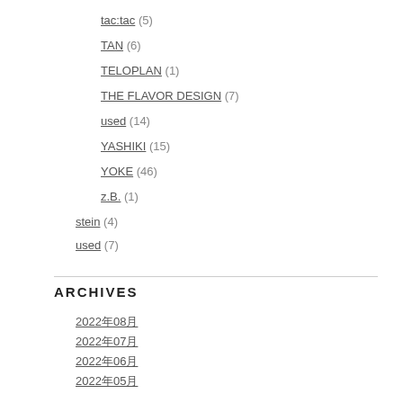tac:tac (5)
TAN (6)
TELOPLAN (1)
THE FLAVOR DESIGN (7)
used (14)
YASHIKI (15)
YOKE (46)
z.B. (1)
stein (4)
used (7)
ARCHIVES
2022年08月
2022年07月
2022年06月
2022年05月
2021年11月
2021年10月
2021年09月
2021年08月